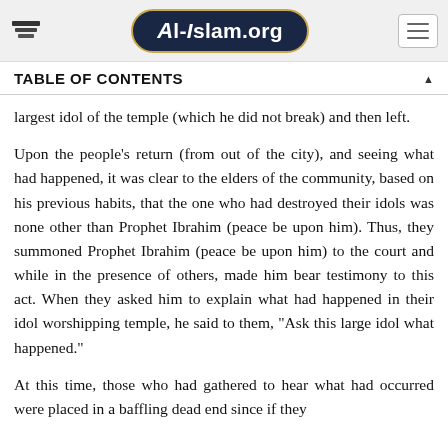Al-Islam.org
TABLE OF CONTENTS
largest idol of the temple (which he did not break) and then left.
Upon the people’s return (from out of the city), and seeing what had happened, it was clear to the elders of the community, based on his previous habits, that the one who had destroyed their idols was none other than Prophet Ibrahim (peace be upon him). Thus, they summoned Prophet Ibrahim (peace be upon him) to the court and while in the presence of others, made him bear testimony to this act. When they asked him to explain what had happened in their idol worshipping temple, he said to them, “Ask this large idol what happened.”
At this time, those who had gathered to hear what had occurred were placed in a baffling dead end since if they